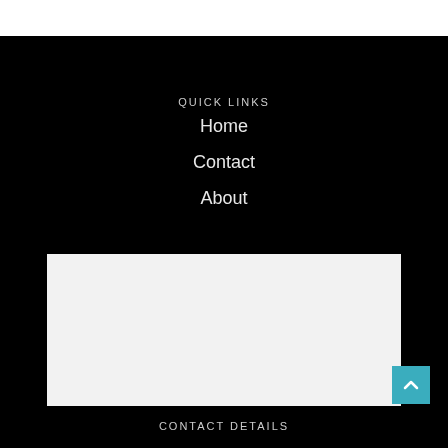QUICK LINKS
Home
Contact
About
[Figure (other): Light gray rectangular box, likely a map or content placeholder]
CONTACT DETAILS